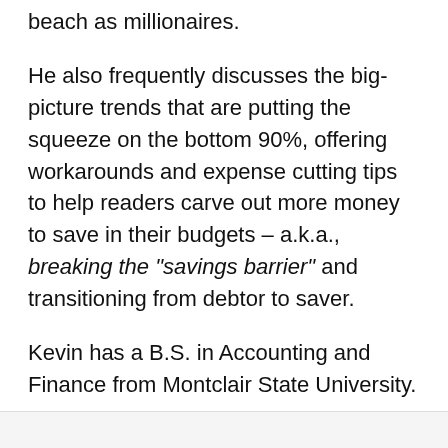beach as millionaires.
He also frequently discusses the big-picture trends that are putting the squeeze on the bottom 90%, offering workarounds and expense cutting tips to help readers carve out more money to save in their budgets – a.k.a., breaking the "savings barrier" and transitioning from debtor to saver.
Kevin has a B.S. in Accounting and Finance from Montclair State University.
Opinions expressed here are the author's alone, not those of any bank or financial institution. This content has not been reviewed, approved or otherwise endorsed by any of these entities.